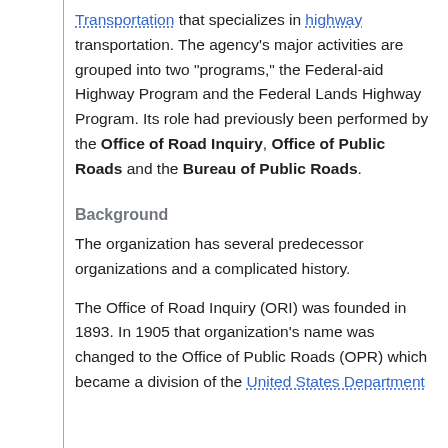Transportation that specializes in highway transportation. The agency's major activities are grouped into two "programs," the Federal-aid Highway Program and the Federal Lands Highway Program. Its role had previously been performed by the Office of Road Inquiry, Office of Public Roads and the Bureau of Public Roads.
Background
The organization has several predecessor organizations and a complicated history.
The Office of Road Inquiry (ORI) was founded in 1893. In 1905 that organization's name was changed to the Office of Public Roads (OPR) which became a division of the United States Department